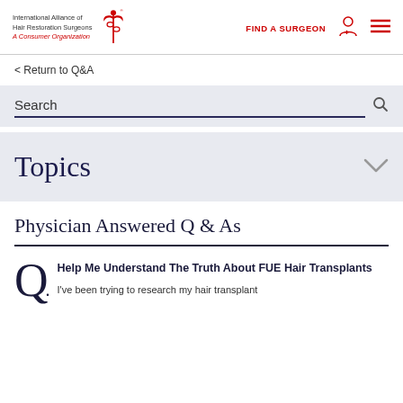International Alliance of Hair Restoration Surgeons — A Consumer Organization | FIND A SURGEON
< Return to Q&A
Search
Topics
Physician Answered Q & As
Help Me Understand The Truth About FUE Hair Transplants
I've been trying to research my hair transplant